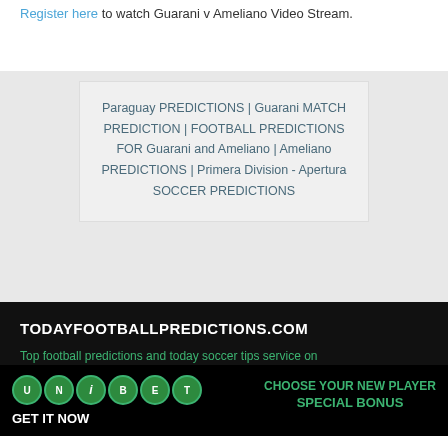Register here to watch Guarani v Ameliano Video Stream.
Paraguay PREDICTIONS | Guarani MATCH PREDICTION | FOOTBALL PREDICTIONS FOR Guarani and Ameliano | Ameliano PREDICTIONS | Primera Division - Apertura SOCCER PREDICTIONS
TODAYFOOTBALLPREDICTIONS.COM
Top football predictions and today soccer tips service on
[Figure (logo): Unibet logo made of colored circles with letters U, N, i, B, E, T]
GET IT NOW
CHOOSE YOUR NEW PLAYER SPECIAL BONUS